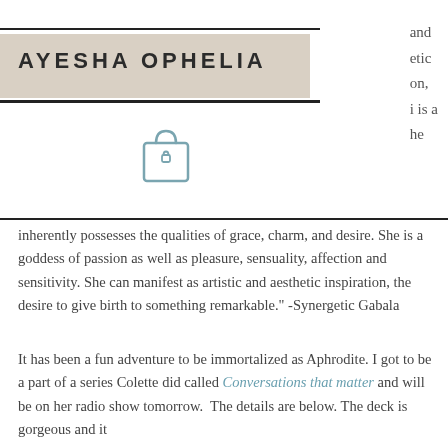AYESHA OPHELIA
and etic on, i is a he
[Figure (illustration): Shopping bag icon]
inherently possesses the qualities of grace, charm, and desire. She is a goddess of passion as well as pleasure, sensuality, affection and sensitivity. She can manifest as artistic and aesthetic inspiration, the desire to give birth to something remarkable." -Synergetic Gabala
It has been a fun adventure to be immortalized as Aphrodite. I got to be a part of a series Colette did called Conversations that matter and will be on her radio show tomorrow. The details are below. The deck is gorgeous and it